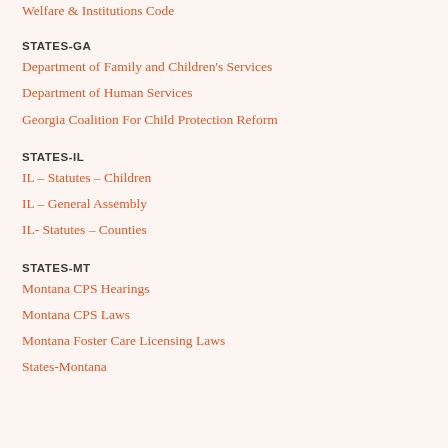Welfare & Institutions Code
STATES-GA
Department of Family and Children's Services
Department of Human Services
Georgia Coalition For Child Protection Reform
STATES-IL
IL – Statutes – Children
IL – General Assembly
IL- Statutes – Counties
STATES-MT
Montana CPS Hearings
Montana CPS Laws
Montana Foster Care Licensing Laws
States-Montana